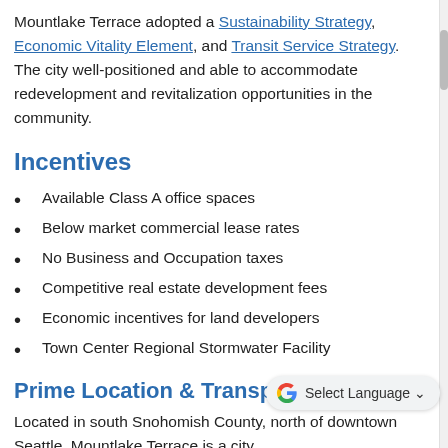Mountlake Terrace adopted a Sustainability Strategy, Economic Vitality Element, and Transit Service Strategy. The city well-positioned and able to accommodate redevelopment and revitalization opportunities in the community.
Incentives
Available Class A office spaces
Below market commercial lease rates
No Business and Occupation taxes
Competitive real estate development fees
Economic incentives for land developers
Town Center Regional Stormwater Facility
Prime Location & Transportation
Located in south Snohomish County, north of downtown Seattle, Mountlake Terrace is a city